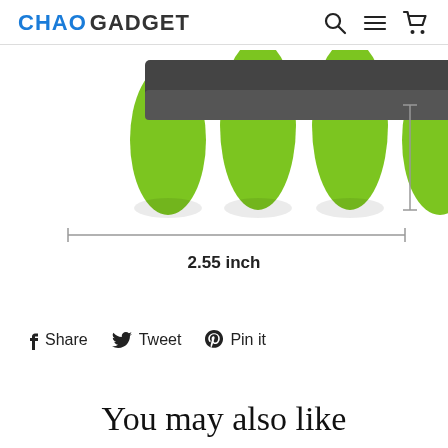CHAO GADGET
[Figure (photo): Green silicone finger massager or cord organizer product shown from below, with green rounded fingers/prongs visible. A measurement diagram is shown with a horizontal dimension line indicating 2.55 inch width and a vertical line on the right side.]
2.55 inch
Share   Tweet   Pin it
You may also like